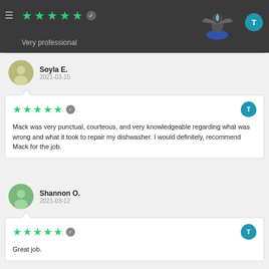★★★★★ ✓  Very professional
Soyla E.
2021-03-15
★★★★★ ✓  Mack was very punctual, courteous, and very knowledgeable regarding what was wrong and what it took to repair my dishwasher. I would definitely, recommend Mack for the job.
Shannon O.
2021-03-12
★★★★★ ✓  Great job.